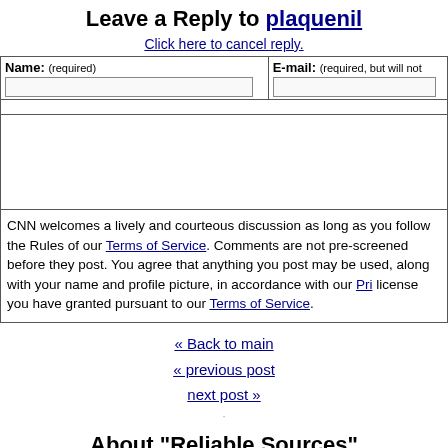Leave a Reply to plaquenil
Click here to cancel reply.
| Name: (required) | E-mail: (required, but will not be published) |
| --- | --- |
|  |  |
CNN welcomes a lively and courteous discussion as long as you follow the Rules of our Terms of Service. Comments are not pre-screened before they post. You agree that anything you post may be used, along with your name and profile picture, in accordance with our Privacy Policy and the license you have granted pursuant to our Terms of Service.
« Back to main
« previous post
next post »
About "Reliable Sources"